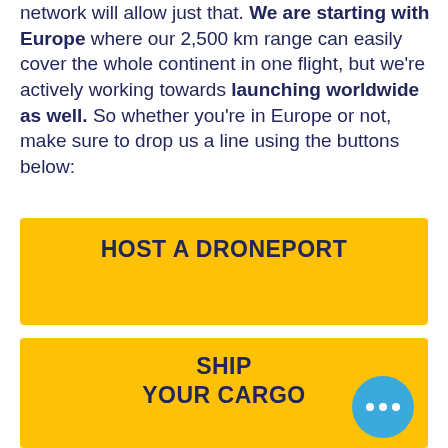network will allow just that. We are starting with Europe where our 2,500 km range can easily cover the whole continent in one flight, but we're actively working towards launching worldwide as well. So whether you're in Europe or not, make sure to drop us a line using the buttons below:
[Figure (infographic): Yellow button with bold dark navy text reading HOST A DRONEPORT]
[Figure (infographic): Yellow button with bold dark navy text reading SHIP YOUR CARGO, with a blue chat bubble with three dots in the bottom right corner]